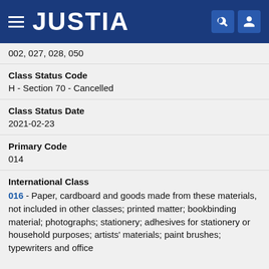[Figure (logo): Justia website header with hamburger menu, JUSTIA logo in white on dark blue background, and search/user icons]
002, 027, 028, 050
Class Status Code
H - Section 70 - Cancelled
Class Status Date
2021-02-23
Primary Code
014
International Class
016 - Paper, cardboard and goods made from these materials, not included in other classes; printed matter; bookbinding material; photographs; stationery; adhesives for stationery or household purposes; artists' materials; paint brushes; typewriters and office